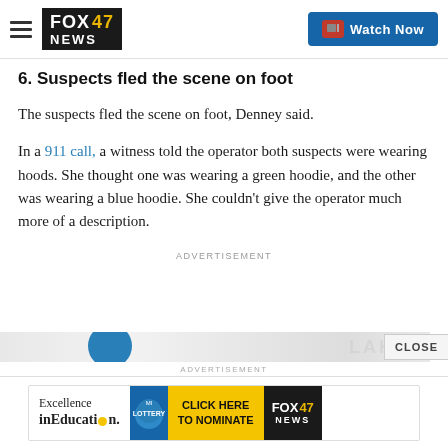FOX 47 NEWS | Watch Now
6. Suspects fled the scene on foot
The suspects fled the scene on foot, Denney said.
In a 911 call, a witness told the operator both suspects were wearing hoods. She thought one was wearing a green hoodie, and the other was wearing a blue hoodie. She couldn't give the operator much more of a description.
ADVERTISEMENT
[Figure (screenshot): Advertisement banner: Excellence in Education with FOX 47 News lottery click here to nominate]
ADVERTISEMENT